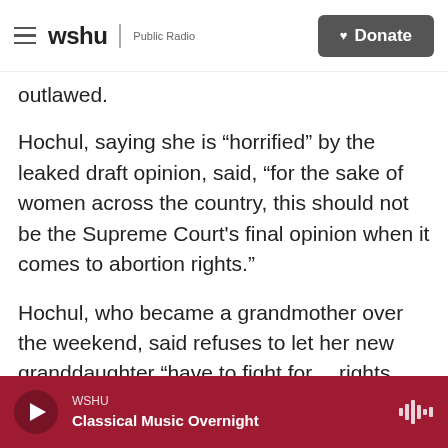wshu | Public Radio — Donate
outlawed.
Hochul, saying she is “horrified” by the leaked draft opinion, said, “for the sake of women across the country, this should not be the Supreme Court’s final opinion when it comes to abortion rights.”
Hochul, who became a grandmother over the weekend, said refuses to let her new granddaughter “have to fight for… rights that should be guaranteed.”
In 2019, New York codified into state law the rights granted in Roe v. Wade, so abortion rights in the
WSHU — Classical Music Overnight